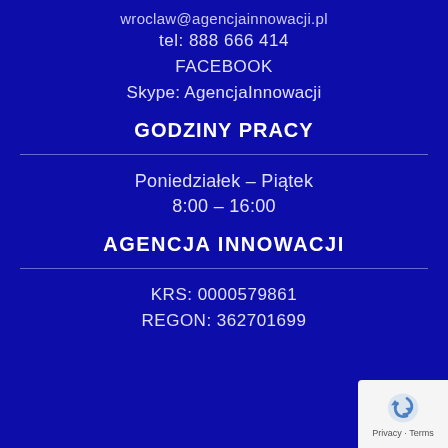wroclaw@agencjainnowacji.pl
tel: 888 666 414
FACEBOOK
Skype: AgencjaInnowacji
GODZINY PRACY
Poniedziałek – Piątek
8:00 – 16:00
AGENCJA INNOWACJI
KRS: 0000579861
REGON: 362701699
[Figure (logo): Google reCAPTCHA privacy badge with blue recycling-style arrow icon and 'Privacy - Terms' text]